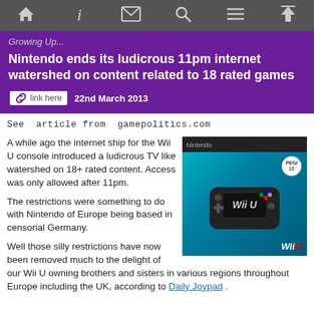Navigation bar with icons: home, info, mail, search, menu, up
Growing Up...
Nintendo ends its ludicrous 11pm internet watershed on content related to 18 rated games
link here  22nd March 2013
See  article from  gamepolitics.com
[Figure (photo): Wii U console box in teal/black packaging with Wii U logo]
A while ago the internet ship for the Wii U console introduced a ludicrous TV like watershed on 18+ rated content. Access was only allowed after 11pm.

The restrictions were something to do with Nintendo of Europe being based in censorial Germany.

Well those silly restrictions have now been removed much to the delight of our Wii U owning brothers and sisters in various regions throughout Europe including the UK, according to Daily Joypad .